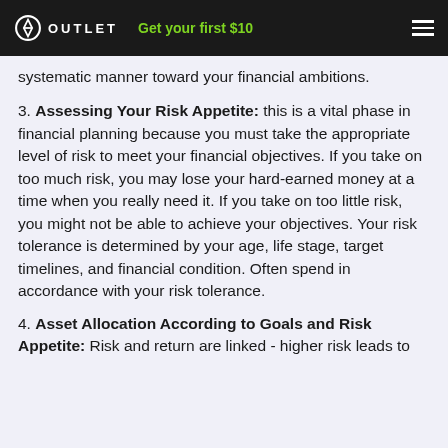OUTLET  Get your first $10
systematic manner toward your financial ambitions.
3. Assessing Your Risk Appetite: this is a vital phase in financial planning because you must take the appropriate level of risk to meet your financial objectives. If you take on too much risk, you may lose your hard-earned money at a time when you really need it. If you take on too little risk, you might not be able to achieve your objectives. Your risk tolerance is determined by your age, life stage, target timelines, and financial condition. Often spend in accordance with your risk tolerance.
4. Asset Allocation According to Goals and Risk Appetite: Risk and return are linked - higher risk leads to